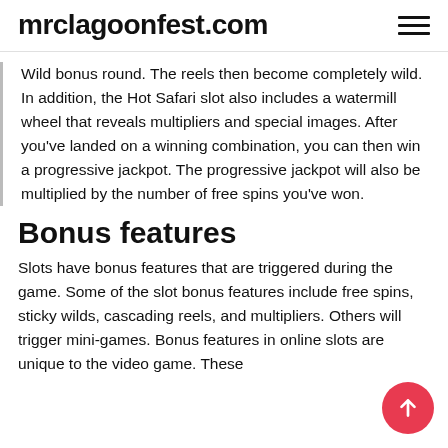mrclagoonfest.com
Wild bonus round. The reels then become completely wild. In addition, the Hot Safari slot also includes a watermill wheel that reveals multipliers and special images. After you've landed on a winning combination, you can then win a progressive jackpot. The progressive jackpot will also be multiplied by the number of free spins you've won.
Bonus features
Slots have bonus features that are triggered during the game. Some of the slot bonus features include free spins, sticky wilds, cascading reels, and multipliers. Others will trigger mini-games. Bonus features in online slots are unique to the video game. These